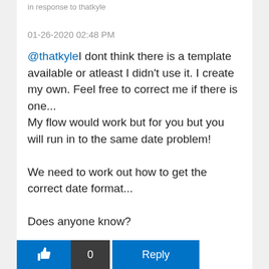in response to thatkyle
01-26-2020 02:48 PM
@thatkyle I dont think there is a template available or atleast I didn't use it. I create my own. Feel free to correct me if there is one...
My flow would work but for you but you will run in to the same date problem!

We need to work out how to get the correct date format...

Does anyone know?
Message 17 of 22 (156,968 Views)